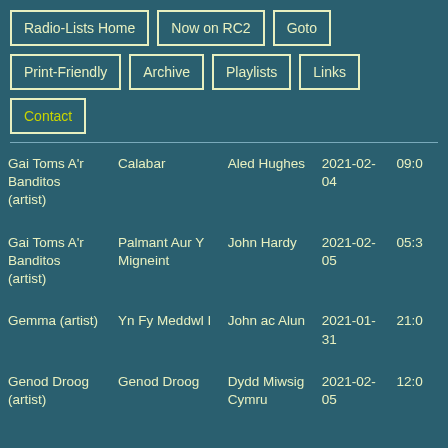Radio-Lists Home
Now on RC2
Goto
Print-Friendly
Archive
Playlists
Links
Contact
| Artist | Track | Programme | Date | Time |
| --- | --- | --- | --- | --- |
| Gai Toms A'r Banditos (artist) | Calabar | Aled Hughes | 2021-02-04 | 09:0 |
| Gai Toms A'r Banditos (artist) | Palmant Aur Y Migneint | John Hardy | 2021-02-05 | 05:3 |
| Gemma (artist) | Yn Fy Meddwl I | John ac Alun | 2021-01-31 | 21:0 |
| Genod Droog (artist) | Genod Droog | Dydd Miwsig Cymru | 2021-02-05 | 12:0 |